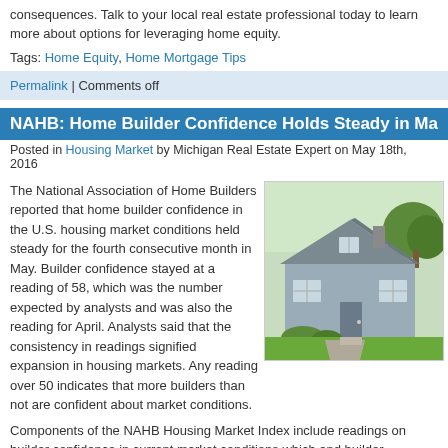consequences. Talk to your local real estate professional today to learn more about options for leveraging home equity.
Tags: Home Equity, Home Mortgage Tips
Permalink | Comments off
NAHB: Home Builder Confidence Holds Steady in Ma...
Posted in Housing Market by Michigan Real Estate Expert on May 18th, 2016
The National Association of Home Builders reported that home builder confidence in the U.S. housing market conditions held steady for the fourth consecutive month in May. Builder confidence stayed at a reading of 58, which was the number expected by analysts and was also the reading for April. Analysts said that the consistency in readings signified expansion in housing markets. Any reading over 50 indicates that more builders than not are confident about market conditions.
[Figure (photo): Photo of a residential house with gray siding, white trim windows, and landscaped front yard with green bushes and lawn.]
Components of the NAHB Housing Market Index include readings on builder confidence in current market conditions which... and builder confidence in market conditions over the next six months, which ga... to a reading of 54. Builder confidence in foot traffic for new home developments...